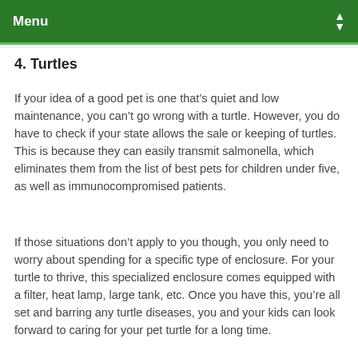Menu
4. Turtles
If your idea of a good pet is one that’s quiet and low maintenance, you can’t go wrong with a turtle. However, you do have to check if your state allows the sale or keeping of turtles. This is because they can easily transmit salmonella, which eliminates them from the list of best pets for children under five, as well as immunocompromised patients.
If those situations don’t apply to you though, you only need to worry about spending for a specific type of enclosure. For your turtle to thrive, this specialized enclosure comes equipped with a filter, heat lamp, large tank, etc. Once you have this, you’re all set and barring any turtle diseases, you and your kids can look forward to caring for your pet turtle for a long time.
Ready to Own a Pet?